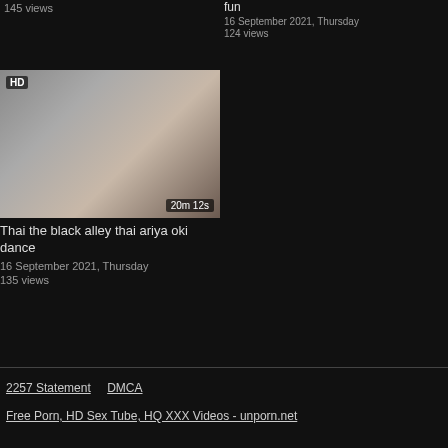145 views
fun
16 September 2021, Thursday
124 views
[Figure (photo): HD thumbnail of a person, side profile, duration badge 20m 12s]
Thai the black alley thai ariya oki dance
16 September 2021, Thursday
135 views
2257 Statement   DMCA
Free Porn, HD Sex Tube, HQ XXX Videos - unporn.net